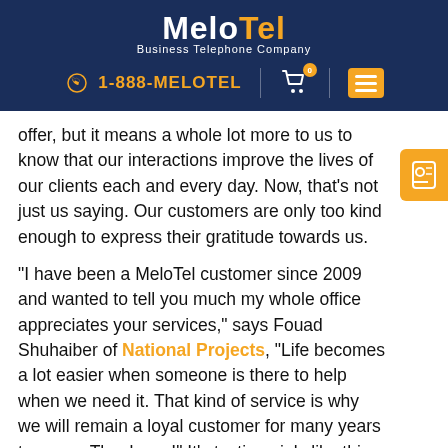MeloTel Business Telephone Company — 1-888-MELOTEL
offer, but it means a whole lot more to us to know that our interactions improve the lives of our clients each and every day. Now, that's not just us saying. Our customers are only too kind enough to express their gratitude towards us.
“I have been a MeloTel customer since 2009 and wanted to tell you much my whole office appreciates your services,” says Fouad Shuhaiber of National Projects, “Life becomes a lot easier when someone is there to help when we need it. That kind of service is why we will remain a loyal customer for many years to come. Thank you!” It’s testimonials like this that make it all worth it for us.